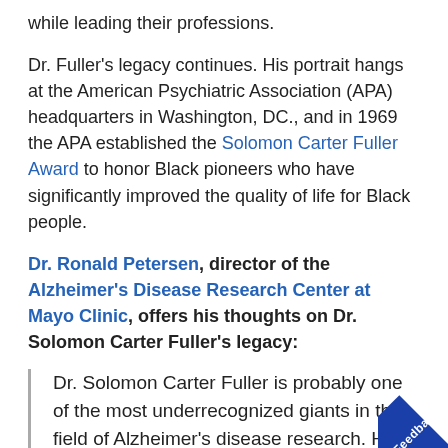while leading their professions.
Dr. Fuller's legacy continues. His portrait hangs at the American Psychiatric Association (APA) headquarters in Washington, DC., and in 1969 the APA established the Solomon Carter Fuller Award to honor Black pioneers who have significantly improved the quality of life for Black people.
Dr. Ronald Petersen, director of the Alzheimer's Disease Research Center at Mayo Clinic, offers his thoughts on Dr. Solomon Carter Fuller's legacy:
Dr. Solomon Carter Fuller is probably one of the most underrecognized giants in the field of Alzheimer's disease research. He worked side by side with Dr. Alois Alzheimer and translated much of Professor Alzheimer's work into English, including t